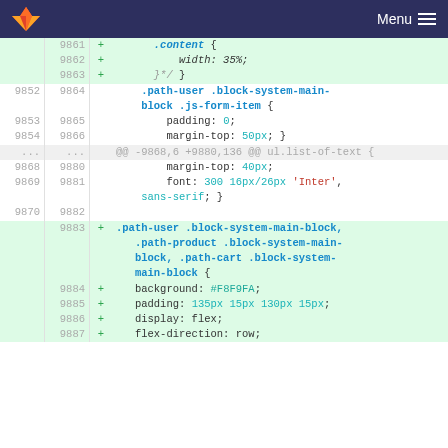GitLab Menu
Code diff view showing lines 9861-9887 of a CSS file. Added and context lines with line numbers, showing CSS rules for .content, .path-user .block-system-main-block .js-form-item, ul.list-of-text, and .path-user .block-system-main-block / .path-product .block-system-main-block / .path-cart .block-system-main-block selectors.